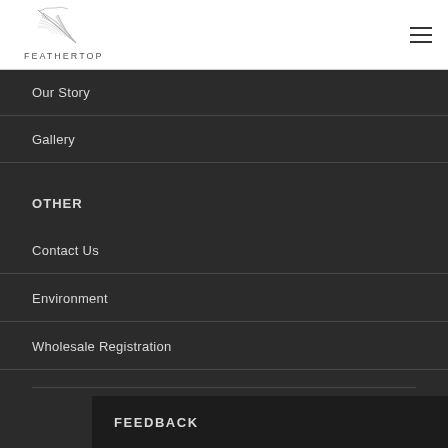[Figure (logo): Feathertop logo with feather illustration above the text FEATHERTOP]
FEATHERTOP
Our Story
Gallery
OTHER
Contact Us
Environment
Wholesale Registration
FEEDBACK